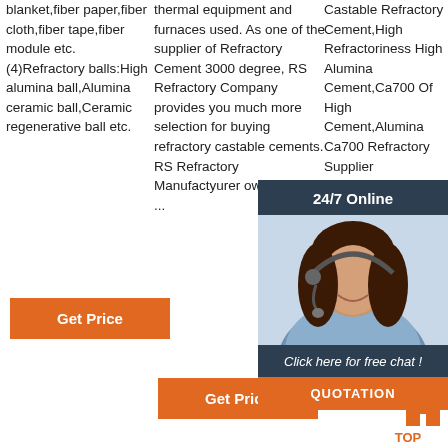blanket,fiber paper,fiber cloth,fiber tape,fiber module etc. (4)Refractory balls:High alumina ball,Alumina ceramic ball,Ceramic regenerative ball etc.
thermal equipment and furnaces used. As one of the supplier of Refractory Cement 3000 degree, RS Refractory Company provides you much more selection for buying refractory castable cements. RS Refractory Manufactyurer owns a new ...
Castable Refractory Cement,High Refractoriness High Alumina Cement,Ca700 Of High Cement,Alumina Ca700 Refractory Supplier Manufacturer,ZHENGZHOU RONGSHENG ...
[Figure (photo): Customer service representative with headset, chat widget overlay with '24/7 Online' header, 'Click here for free chat!' subtext, and QUOTATION button]
Get Price
Get Price
Get Price